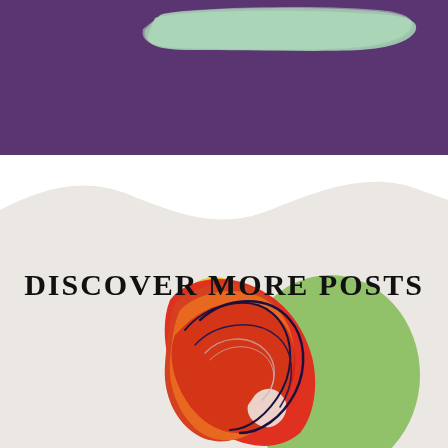[Figure (illustration): Purple banner background with a mint/sage green brushstroke paint swatch in the upper portion of the page]
[Figure (illustration): Wavy cream/beige shape background section with 'DISCOVER MORE POSTS' text and colorful abstract artwork below showing swirling red, orange, yellow, green, and dark navy colored pencil drawing of an abstract figure]
DISCOVER MORE POSTS